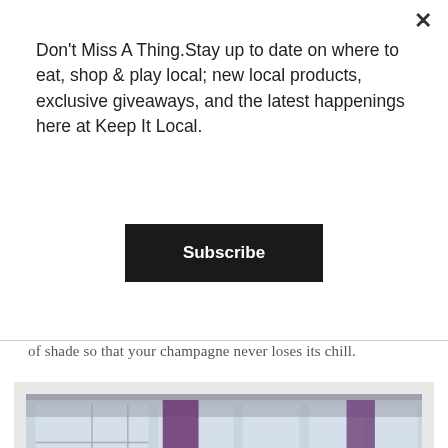Don't Miss A Thing.Stay up to date on where to eat, shop & play local; new local products, exclusive giveaways, and the latest happenings here at Keep It Local.
Subscribe
of shade so that your champagne never loses its chill.
[Figure (photo): Interior of a wine store showing rows of wine bottles displayed on angled racks, with purple columns and large windows visible in the background]
Broadway Wine Merchants